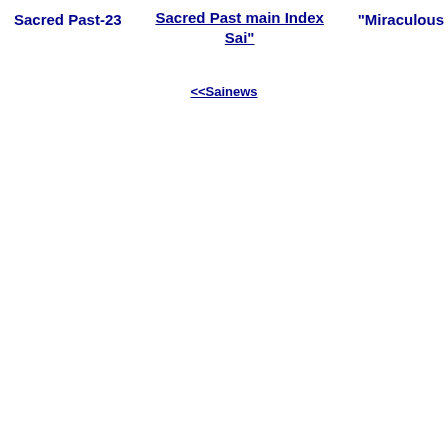Sacred Past-23   Sacred Past main Index   "Miraculous Sai"
<<Sainews